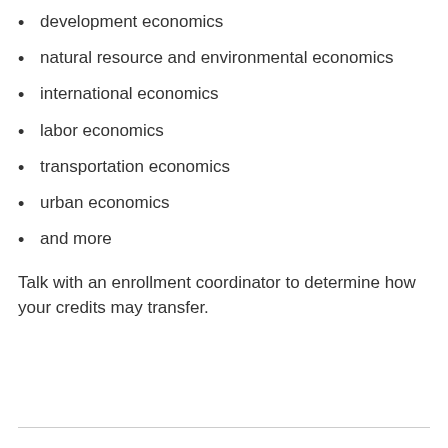development economics
natural resource and environmental economics
international economics
labor economics
transportation economics
urban economics
and more
Talk with an enrollment coordinator to determine how your credits may transfer.